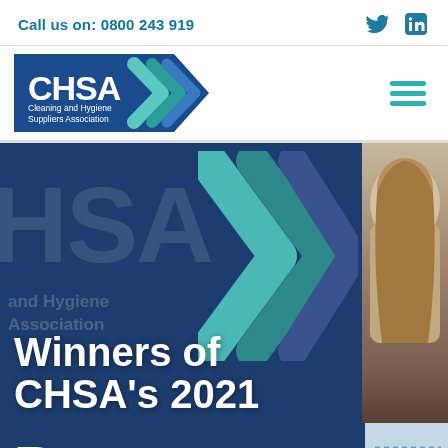Call us on: 0800 243 919
[Figure (logo): CHSA - Cleaning and Hygiene Suppliers Association logo with blue pentagon shape and teal chevron arrows]
[Figure (photo): Hero banner showing CHSA signage with large 'HSA' text and coloured chevron arrows in blue and teal, with text 'Winners of CHSA's 2021 Bursary' overlaid in white bold text. Partial photo of a blonde woman on the right side.]